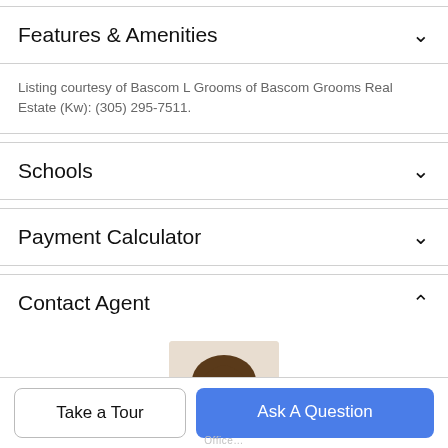Features & Amenities
Listing courtesy of Bascom L Grooms of Bascom Grooms Real Estate (Kw): (305) 295-7511.
Schools
Payment Calculator
Contact Agent
[Figure (photo): Agent portrait photo — woman with dark hair, smiling, cropped circular/portrait style]
Take a Tour
Ask A Question